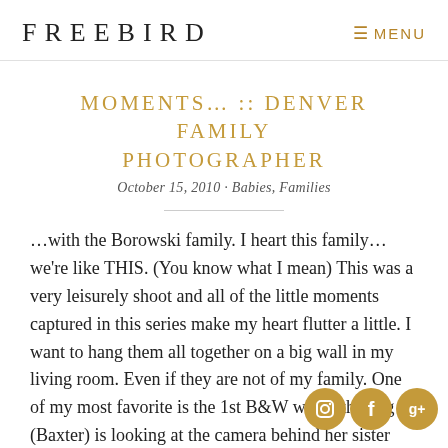FREEBIRD  MENU
MOMENTS… :: DENVER FAMILY PHOTOGRAPHER
October 15, 2010 · Babies, Families
…with the Borowski family. I heart this family…we're like THIS. (You know what I mean) This was a very leisurely shoot and all of the little moments captured in this series make my heart flutter a little. I want to hang them all together on a big wall in my living room. Even if they are not of my family. One of my most favorite is the 1st B&W where the dog (Baxter) is looking at the camera behind her sister with a blur and